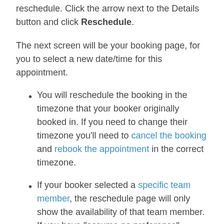Select the booking you would like to reschedule. Click the arrow next to the Details button and click Reschedule.
The next screen will be your booking page, for you to select a new date/time for this appointment.
You will reschedule the booking in the timezone that your booker originally booked in. If you need to change their timezone you'll need to cancel the booking and rebook the appointment in the correct timezone.
If your booker selected a specific team member, the reschedule page will only show the availability of that team member. If you have "assume no preference" selected, the appointment can be